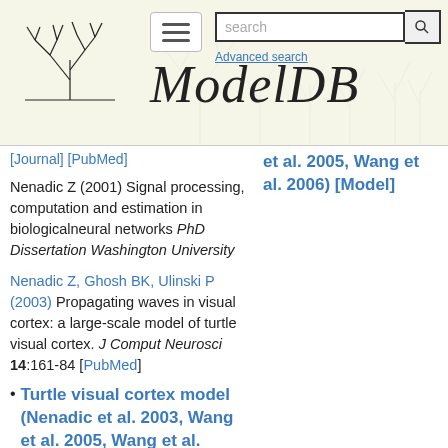ModelDB — Advanced search
[Journal] [PubMed]
Nenadic Z (2001) Signal processing, computation and estimation in biologicalneural networks PhD Dissertation Washington University
Nenadic Z, Ghosh BK, Ulinski P (2003) Propagating waves in visual cortex: a large-scale model of turtle visual cortex. J Comput Neurosci 14:161-84 [PubMed]
Turtle visual cortex model (Nenadic et al. 2003, Wang et al. 2005, Wang et al. 2006) [Model]
et al. 2005, Wang et al. 2006) [Model]